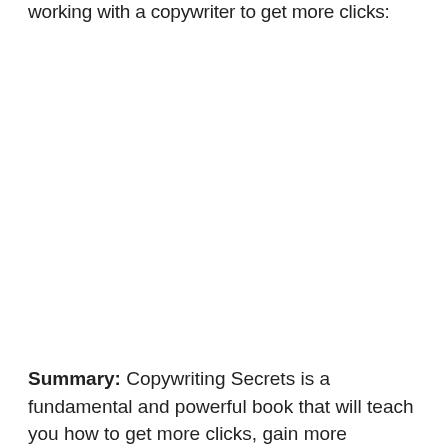working with a copywriter to get more clicks:
Summary: Copywriting Secrets is a fundamental and powerful book that will teach you how to get more clicks, gain more